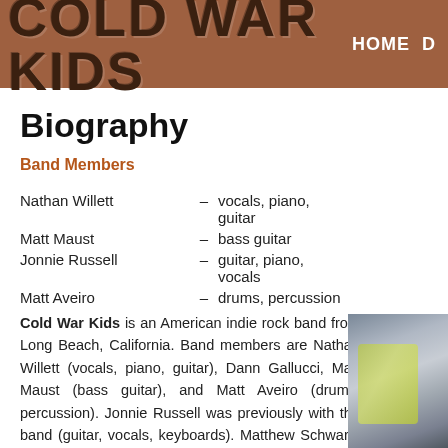COLD WAR KIDS  HOME  D
Biography
Band Members
Nathan Willett – vocals, piano, guitar
Matt Maust – bass guitar
Jonnie Russell – guitar, piano, vocals
Matt Aveiro – drums, percussion
Cold War Kids is an American indie rock band from Long Beach, California. Band members are Nathan Willett (vocals, piano, guitar), Dann Gallucci, Matt Maust (bass guitar), and Matt Aveiro (drums, percussion). Jonnie Russell was previously with the band (guitar, vocals, keyboards). Matthew Schwartz ( keyboards, guitar, backing vocals) is also a touring member with the band.
[Figure (photo): Partial photo of a band member visible on the right side of the page]